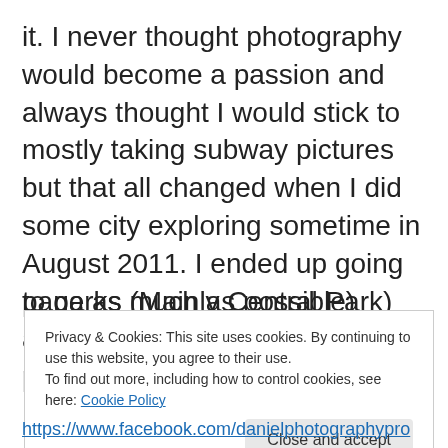it. I never thought photography would become a passion and always thought I would stick to mostly taking subway pictures but that all changed when I did some city exploring sometime in August 2011. I ended up going to parks (Mainly Central Park) alot more, I took some bus pictures of the M60 and M116 Routes when those routes used a good amount of RTS Buses. Then after being suggested by others many times, I've decided to create the Facebook Page (Formerly known as the Daniel Smith Photography Productions) and I started doing work on that page as much as possible)
Privacy & Cookies: This site uses cookies. By continuing to use this website, you agree to their use. To find out more, including how to control cookies, see here: Cookie Policy
Close and accept
https://www.facebook.com/danielphotographypro